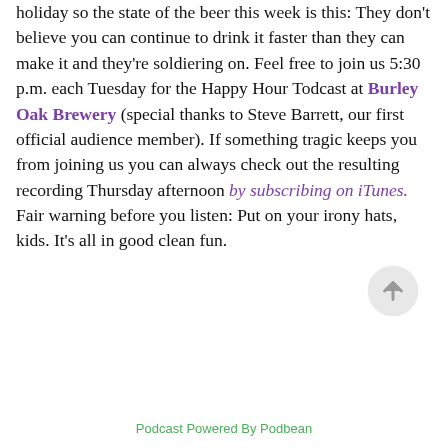holiday so the state of the beer this week is this: They don't believe you can continue to drink it faster than they can make it and they're soldiering on. Feel free to join us 5:30 p.m. each Tuesday for the Happy Hour Todcast at Burley Oak Brewery (special thanks to Steve Barrett, our first official audience member). If something tragic keeps you from joining us you can always check out the resulting recording Thursday afternoon by subscribing on iTunes. Fair warning before you listen: Put on your irony hats, kids. It's all in good clean fun.
[Figure (other): Circular scroll-to-top button with upward arrow icon]
Podcast Powered By Podbean